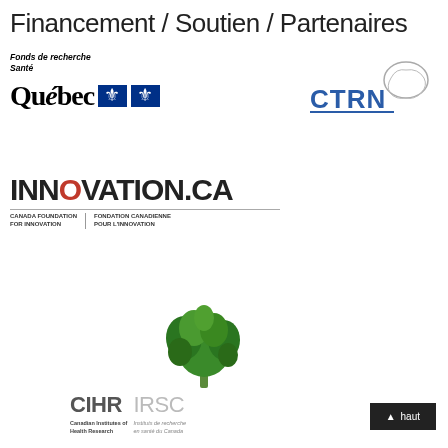Financement / Soutien / Partenaires
[Figure (logo): Fonds de recherche Santé Québec logo with fleur-de-lis symbols]
[Figure (logo): CTRN logo with brain graphic and blue text]
[Figure (logo): Innovation.ca Canada Foundation for Innovation / Fondation Canadienne pour l'innovation logo]
[Figure (logo): CIHR IRSC Canadian Institutes of Health Research / Instituts de recherche en santé du Canada logo with green tree]
haut